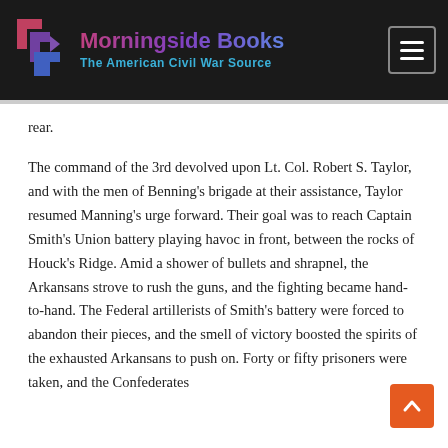[Figure (logo): Morningside Books logo with geometric arrow icon and text 'Morningside Books / The American Civil War Source' on dark header bar]
rear.
The command of the 3rd devolved upon Lt. Col. Robert S. Taylor, and with the men of Benning's brigade at their assistance, Taylor resumed Manning's urge forward. Their goal was to reach Captain Smith's Union battery playing havoc in front, between the rocks of Houck's Ridge. Amid a shower of bullets and shrapnel, the Arkansans strove to rush the guns, and the fighting became hand-to-hand. The Federal artillerists of Smith's battery were forced to abandon their pieces, and the smell of victory boosted the spirits of the exhausted Arkansans to push on. Forty or fifty prisoners were taken, and the Confederates